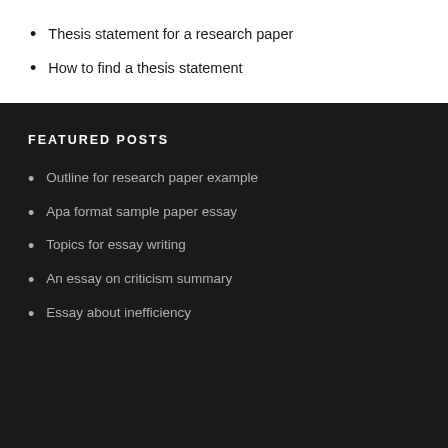Thesis statement for a research paper
How to find a thesis statement
FEATURED POSTS
Outline for research paper example
Apa format sample paper essay
Topics for essay writing
An essay on criticism summary
Essay about inefficiency